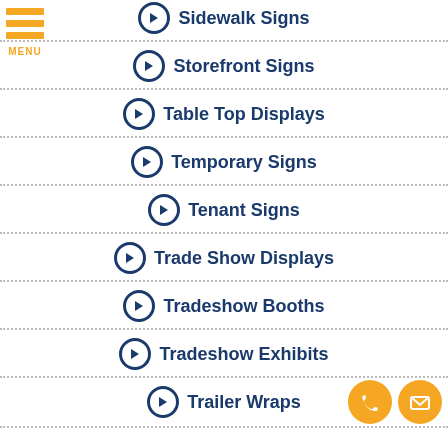Sidewalk Signs
Storefront Signs
Table Top Displays
Temporary Signs
Tenant Signs
Trade Show Displays
Tradeshow Booths
Tradeshow Exhibits
Trailer Wraps